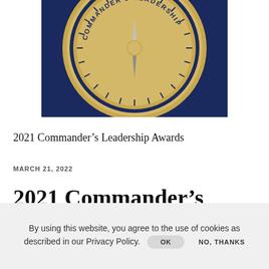[Figure (photo): Close-up of a military-style challenge coin / medal with text reading COMMANDER'S LEADERSHIP on a dark navy blue background. The coin is gold and silver toned with tick marks around the edge.]
2021 Commander's Leadership Awards
MARCH 21, 2022
2021 Commander's Leadership Awards
By using this website, you agree to the use of cookies as described in our Privacy Policy.  OK  NO, THANKS